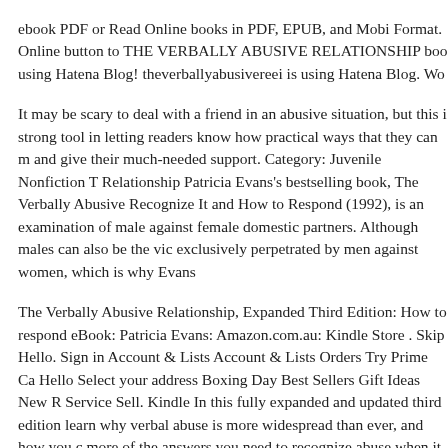ebook PDF or Read Online books in PDF, EPUB, and Mobi Format. Online button to THE VERBALLY ABUSIVE RELATIONSHIP boo using Hatena Blog! theverballyabusivereei is using Hatena Blog. Wo
It may be scary to deal with a friend in an abusive situation, but this i strong tool in letting readers know how practical ways that they can m and give their much-needed support. Category: Juvenile Nonfiction T Relationship Patricia Evans's bestselling book, The Verbally Abusive Recognize It and How to Respond (1992), is an examination of male against female domestic partners. Although males can also be the vic exclusively perpetrated by men against women, which is why Evans
The Verbally Abusive Relationship, Expanded Third Edition: How to respond eBook: Patricia Evans: Amazon.com.au: Kindle Store . Skip Hello. Sign in Account & Lists Account & Lists Orders Try Prime Ca Hello Select your address Boxing Day Best Sellers Gift Ideas New R Service Sell. Kindle In this fully expanded and updated third edition learn why verbal abuse is more widespread than ever, and how you c more of the answers you need to recognize abuse when it happens, re